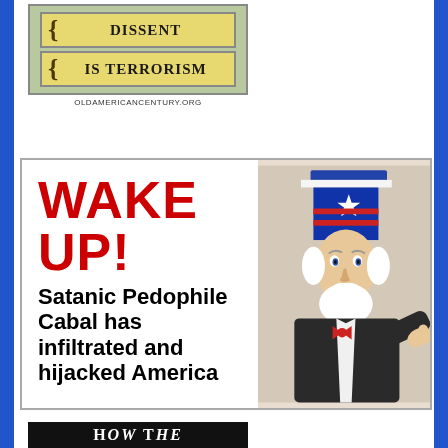[Figure (illustration): Yellow banner-style image on green background with curly bracket decorations reading 'DISSENT IS TERRORISM' with URL oldamericancentury.org below]
[Figure (infographic): Infographic showing 'WAKE UP!' in large red text with Uncle Sam pointing figure, text reads 'Satanic Pedophile Cabal has infiltrated and hijacked America']
[Figure (illustration): Black banner with white serif text reading 'HOW THE']